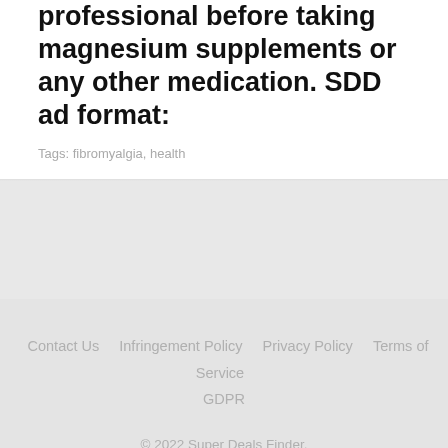professional before taking magnesium supplements or any other medication. SDD ad format:
Tags: fibromyalgia, health
Contact Us   Infringement Policy   Privacy Policy   Terms of Service   GDPR
© 2022 Super Deals Finder.